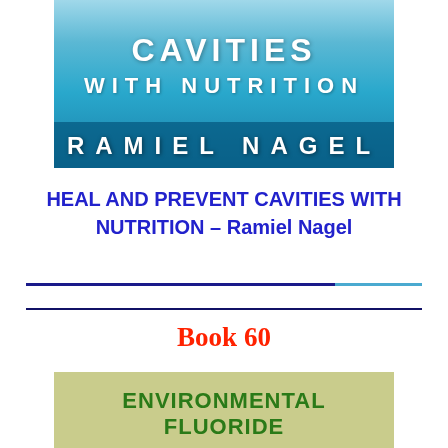[Figure (illustration): Book cover for 'Heal and Prevent Cavities with Nutrition' by Ramiel Nagel. Blue/teal gradient background showing partial cover text 'CAVITIES / WITH NUTRITION' and author name 'RAMIEL NAGEL' in white bold uppercase letters on dark blue bar.]
HEAL AND PREVENT CAVITIES WITH NUTRITION – Ramiel Nagel
[Figure (illustration): Second book cover showing 'ENVIRONMENTAL FLUORIDE' in bold green text on a tan/olive green background, with 'BY' text below.]
Book 60
BY